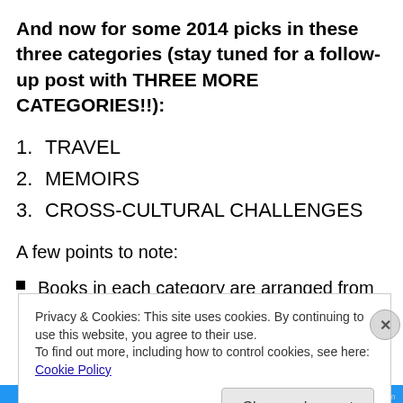And now for some 2014 picks in these three categories (stay tuned for a follow-up post with THREE MORE CATEGORIES!!):
1. TRAVEL
2. MEMOIRS
3. CROSS-CULTURAL CHALLENGES
A few points to note:
Books in each category are arranged from most to least recent.
Privacy & Cookies: This site uses cookies. By continuing to use this website, you agree to their use. To find out more, including how to control cookies, see here: Cookie Policy